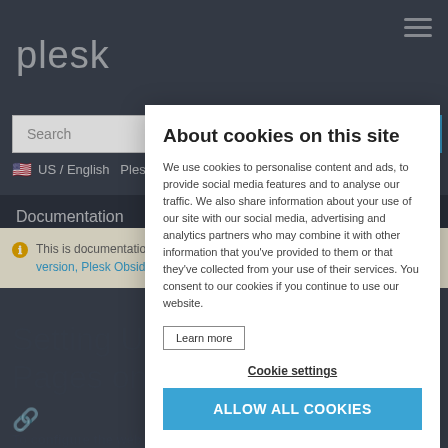[Figure (screenshot): Plesk documentation website background with header, search bar, language selector, documentation section, and a notice about Plesk Onyx documentation.]
About cookies on this site
We use cookies to personalise content and ads, to provide social media features and to analyse our traffic. We also share information about your use of our site with our social media, advertising and analytics partners who may combine it with other information that you've provided to them or that they've collected from your use of their services. You consent to our cookies if you continue to use our website.
Learn more
Cookie settings
ALLOW ALL COOKIES